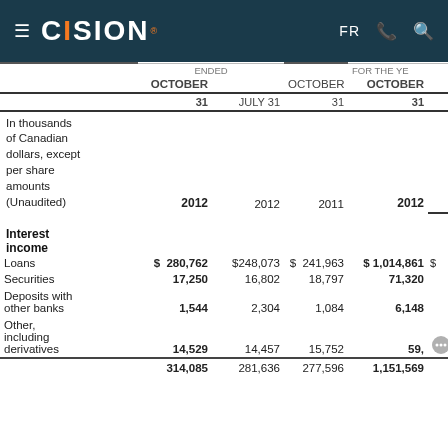CISION — FR
|  | OCTOBER 31 2012 | JULY 31 2012 | OCTOBER 31 2011 | OCTOBER 31 2012 |
| --- | --- | --- | --- | --- |
| In thousands of Canadian dollars, except per share amounts (Unaudited) | 2012 | 2012 | 2011 | 2012 |
| Interest income |  |  |  |  |
| Loans | $ 280,762 | $248,073 | $ 241,963 | $ 1,014,861 |
| Securities | 17,250 | 16,802 | 18,797 | 71,320 |
| Deposits with other banks | 1,544 | 2,304 | 1,084 | 6,148 |
| Other, including derivatives | 14,529 | 14,457 | 15,752 | 59,... |
|  | 314,085 | 281,636 | 277,596 | 1,151,569 |